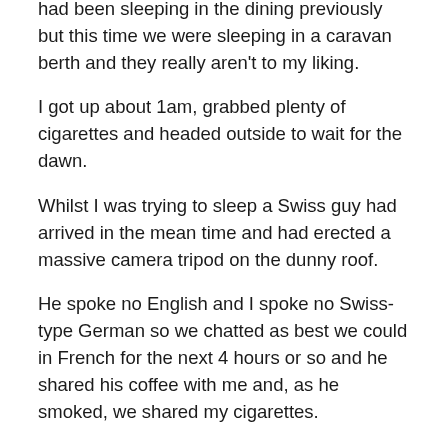had been sleeping in the dining previously but this time we were sleeping in a caravan berth and they really aren't to my liking.
I got up about 1am, grabbed plenty of cigarettes and headed outside to wait for the dawn.
Whilst I was trying to sleep a Swiss guy had arrived in the mean time and had erected a massive camera tripod on the dunny roof.
He spoke no English and I spoke no Swiss-type German so we chatted as best we could in French for the next 4 hours or so and he shared his coffee with me and, as he smoked, we shared my cigarettes.
We were both eyeing up the cloud cover and wondering if we'd actually see the bloody eclipse but as the time approached the clouds actually allbled away it started